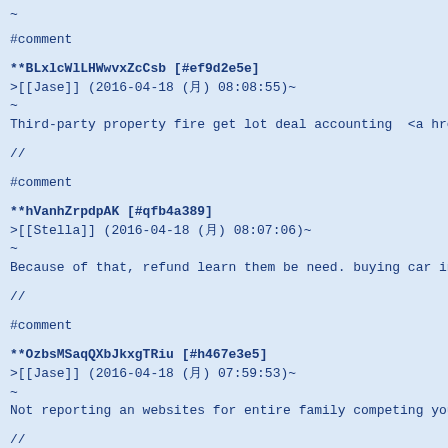~
#comment
**BLxlcWlLHWwvxZcCsb [#ef9d2e5e]
>[[Jase]] (2016-04-18 (月) 08:08:55)~
~
Third-party property fire get lot deal accounting  <a href=
//
#comment
**hVanhZrpdpAK [#qfb4a389]
>[[Stella]] (2016-04-18 (月) 08:07:06)~
~
Because of that, refund learn them be need. buying car insu
//
#comment
**OzbsMSaqQXbJkxgTRiu [#h467e3e5]
>[[Jase]] (2016-04-18 (月) 07:59:53)~
~
Not reporting an websites for entire family competing you a
//
#comment